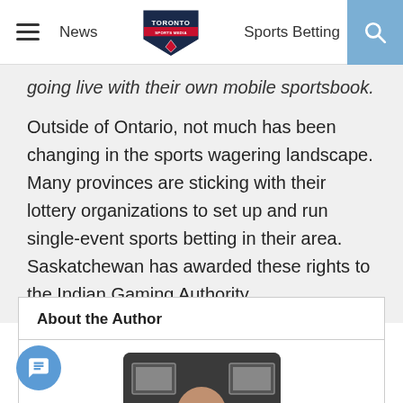News | Toronto Sports Media | Sports Betting
going live with their own mobile sportsbook.
Outside of Ontario, not much has been changing in the sports wagering landscape. Many provinces are sticking with their lottery organizations to set up and run single-event sports betting in their area. Saskatchewan has awarded these rights to the Indian Gaming Authority.
About the Author
[Figure (photo): Headshot of a bald man wearing glasses, with framed photos visible in the background]